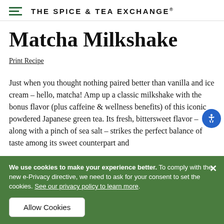THE SPICE & TEA EXCHANGE®
Matcha Milkshake
Print Recipe
Just when you thought nothing paired better than vanilla and ice cream – hello, matcha! Amp up a classic milkshake with the bonus flavor (plus caffeine & wellness benefits) of this iconic powdered Japanese green tea. Its fresh, bittersweet flavor – along with a pinch of sea salt – strikes the perfect balance of taste among its sweet counterpart and
We use cookies to make your experience better. To comply with the new e-Privacy directive, we need to ask for your consent to set the cookies. See our privacy policy to learn more.
Allow Cookies